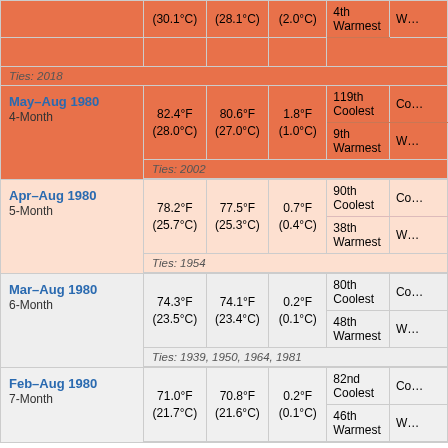| Period | Observed Temp | 20th C. Average | Departure | Rank (Cool Side) | Rank (Warm Side) |
| --- | --- | --- | --- | --- | --- |
| 3-Month (partial, top) | (30.1°C) | (28.1°C) | (2.0°C) | 4th Warmest | W... |
| Ties: 2018 |  |  |  |  |  |
| May–Aug 1980 / 4-Month | 82.4°F (28.0°C) | 80.6°F (27.0°C) | 1.8°F (1.0°C) | 119th Coolest | 9th Warmest |
| Ties: 2002 |  |  |  |  |  |
| Apr–Aug 1980 / 5-Month | 78.2°F (25.7°C) | 77.5°F (25.3°C) | 0.7°F (0.4°C) | 90th Coolest / 38th Warmest |  |
| Ties: 1954 |  |  |  |  |  |
| Mar–Aug 1980 / 6-Month | 74.3°F (23.5°C) | 74.1°F (23.4°C) | 0.2°F (0.1°C) | 80th Coolest / 48th Warmest |  |
| Ties: 1939, 1950, 1964, 1981 |  |  |  |  |  |
| Feb–Aug 1980 / 7-Month | 71.0°F (21.7°C) | 70.8°F (21.6°C) | 0.2°F (0.1°C) | 82nd Coolest / 46th Warmest |  |